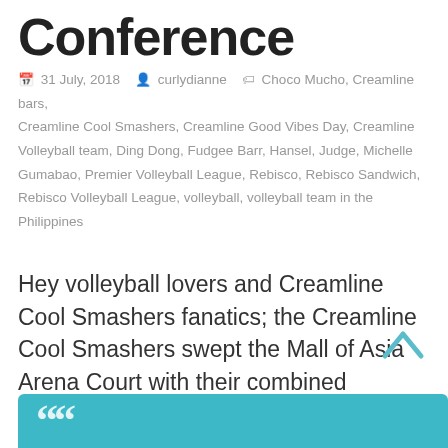Conference
31 July, 2018   curlydianne   Choco Mucho, Creamline bars, Creamline Cool Smashers, Creamline Good Vibes Day, Creamline Volleyball team, Ding Dong, Fudgee Barr, Hansel, Judge, Michelle Gumabao, Premier Volleyball League, Rebisco, Rebisco Sandwich, Rebisco Volleyball League, volleyball, volleyball team in the Philippines
Hey volleyball lovers and Creamline Cool Smashers fanatics; the Creamline Cool Smashers swept the Mall of Asia Arena Court with their combined prowess and trademark good vibes to clinch the coveted championship title of the Premier Volleyball League (PVL) Season 2 Reinforced Conference. Congratulations to the great game!